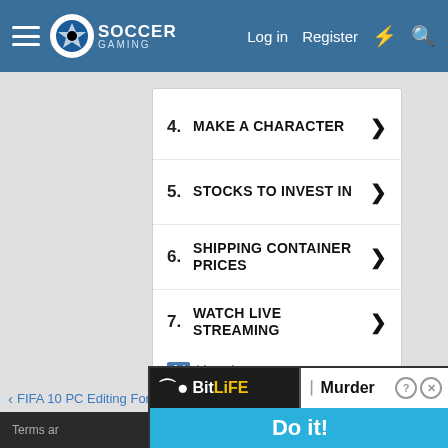Soccer Gaming - Log in | Register
4. MAKE A CHARACTER
5. STOCKS TO INVEST IN
6. SHIPPING CONTAINER PRICES
7. WATCH LIVE STREAMING
Ad | Local
FIFA 10 PC Editing Forum
Close X
Terms ar...